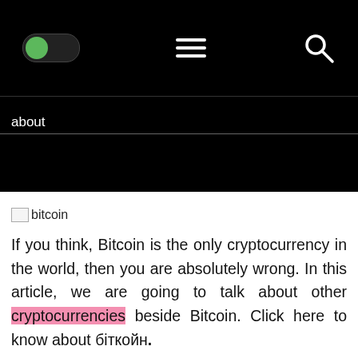[Figure (screenshot): Website navigation bar with dark/black background, showing a green toggle switch on the left, hamburger menu icon in the center, and search icon on the right.]
about
[Figure (photo): Broken image placeholder with label 'bitcoin']
If you think, Bitcoin is the only cryptocurrency in the world, then you are absolutely wrong. In this article, we are going to talk about other cryptocurrencies beside Bitcoin. Click here to know about біткойн.